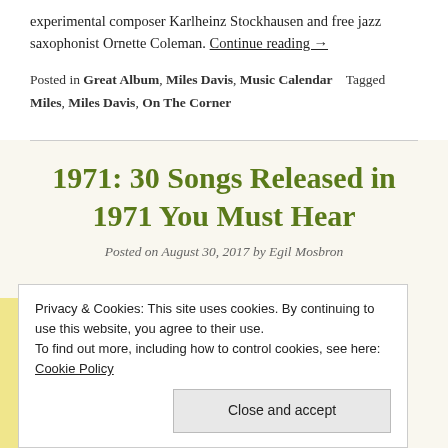experimental composer Karlheinz Stockhausen and free jazz saxophonist Ornette Coleman. Continue reading →
Posted in Great Album, Miles Davis, Music Calendar   Tagged Miles, Miles Davis, On The Corner
1971: 30 Songs Released in 1971 You Must Hear
Posted on August 30, 2017 by Egil Mosbron
Privacy & Cookies: This site uses cookies. By continuing to use this website, you agree to their use.
To find out more, including how to control cookies, see here: Cookie Policy
Close and accept